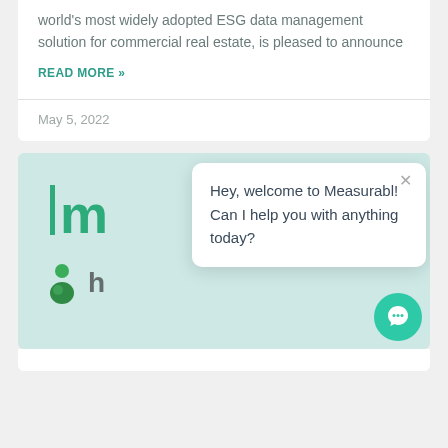world's most widely adopted ESG data management solution for commercial real estate, is pleased to announce
READ MORE »
May 5, 2022
[Figure (screenshot): Chat widget popup on a teal/mint background showing a partial Measurabl logo (green M with vertical bar), a green figure icon with partial 'h' text, and a white chat popup saying 'Hey, welcome to Measurabl! Can I help you with anything today?' with an X close button and a teal circular chat launcher button in the bottom right.]